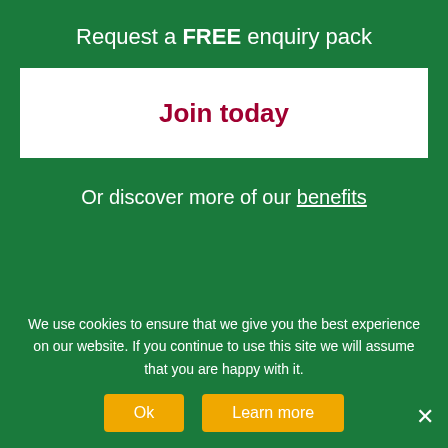Request a FREE enquiry pack
Join today
Or discover more of our benefits
Stay Connected
We use cookies to ensure that we give you the best experience on our website. If you continue to use this site we will assume that you are happy with it.